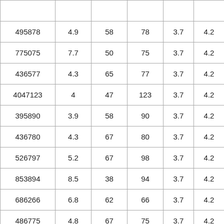| 495878 | 4.9 | 58 | 78 | 3.7 | 4.2 |
| 775075 | 7.7 | 50 | 75 | 3.7 | 4.2 |
| 436577 | 4.3 | 65 | 77 | 3.7 | 4.2 |
| 4047123 | 4 | 47 | 123 | 3.7 | 4.2 |
| 395890 | 3.9 | 58 | 90 | 3.7 | 4.2 |
| 436780 | 4.3 | 67 | 80 | 3.7 | 4.2 |
| 526797 | 5.2 | 67 | 98 | 3.7 | 4.2 |
| 853894 | 8.5 | 38 | 94 | 3.7 | 4.2 |
| 686266 | 6.8 | 62 | 66 | 3.7 | 4.2 |
| 486775 | 4.8 | 67 | 75 | 3.7 | 4.2 |